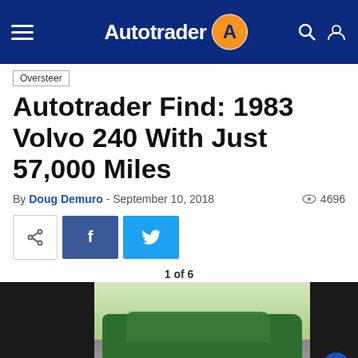Autotrader navigation bar
Oversteer
Autotrader Find: 1983 Volvo 240 With Just 57,000 Miles
By Doug Demuro - September 10, 2018   4696
[Figure (infographic): Share, Facebook, and Twitter social sharing buttons]
1 of 6
[Figure (photo): Green 1983 Volvo 240 parked in a driveway with grass in background, front three-quarter view]